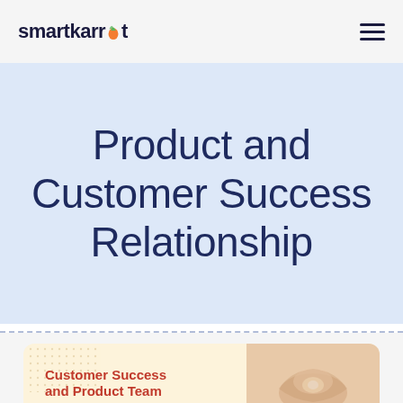smartkarrot
Product and Customer Success Relationship
[Figure (photo): Partial view of a card thumbnail with hands forming a circle, SmartKarrot logo, and bold red text 'Customer Success and Product Team']